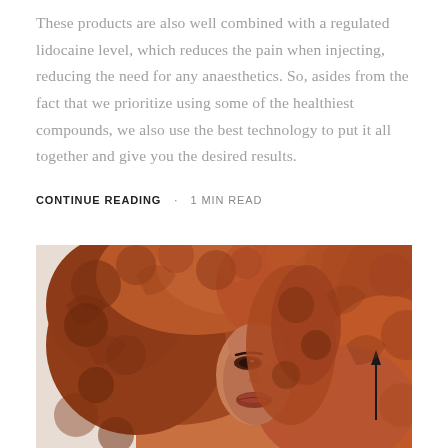These products are also well combined with a regulated lidocaine level, which reduces the pain when injecting, reducing the need for any anaesthetics. So, asides from the fact that we prioritize using some of the healthiest compounds, we also use the best technology to put it all together and give you the desired results.
CONTINUE READING · 1 MIN READ
[Figure (photo): Portrait photo of a woman with voluminous curly auburn/red hair, showing her face partially obscured by the hair. The image has a warm orange-brown tonal color treatment. A vertical arrow or line is visible on the right side of the image.]